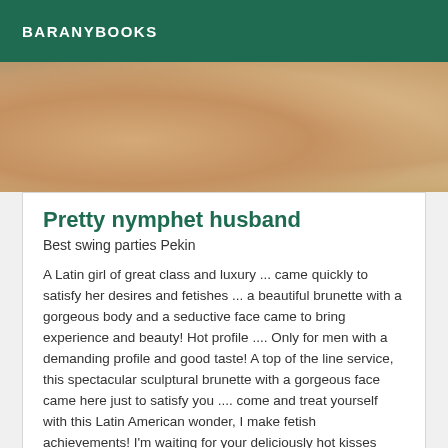BARANYBOOKS
[Figure (photo): Cropped photo showing legs and lower body of a person at a beach or sandy outdoor setting]
Pretty nymphet husband
Best swing parties Pekin
A Latin girl of great class and luxury ... came quickly to satisfy her desires and fetishes ... a beautiful brunette with a gorgeous body and a seductive face came to bring experience and beauty! Hot profile .... Only for men with a demanding profile and good taste! A top of the line service, this spectacular sculptural brunette with a gorgeous face came here just to satisfy you .... come and treat yourself with this Latin American wonder, I make fetish achievements! I'm waiting for your deliciously hot kisses back from this hot brunette!